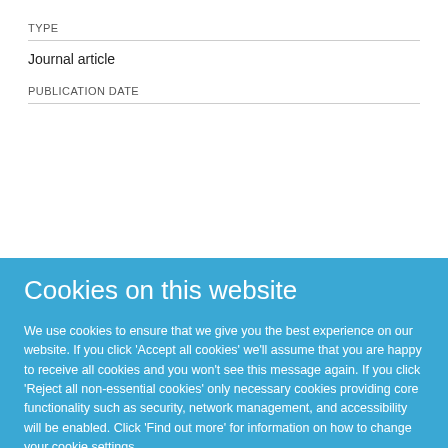TYPE
Journal article
PUBLICATION DATE
Cookies on this website
We use cookies to ensure that we give you the best experience on our website. If you click 'Accept all cookies' we'll assume that you are happy to receive all cookies and you won't see this message again. If you click 'Reject all non-essential cookies' only necessary cookies providing core functionality such as security, network management, and accessibility will be enabled. Click 'Find out more' for information on how to change your cookie settings.
Accept all cookies
Reject all non-essential cookies